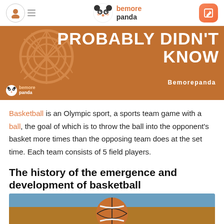be more panda
[Figure (illustration): Orange/brown banner with basketball net illustration on left and bold white text reading 'PROBABLY DIDN'T KNOW' on right, with 'Bemorepanda' subtitle and small logo bottom left]
Basketball is an Olympic sport, a sports team game with a ball, the goal of which is to throw the ball into the opponent's basket more times than the opposing team does at the set time. Each team consists of 5 field players.
The history of the emergence and development of basketball
[Figure (photo): Photo of a basketball on a court floor with blue background, partially visible from bottom of page]